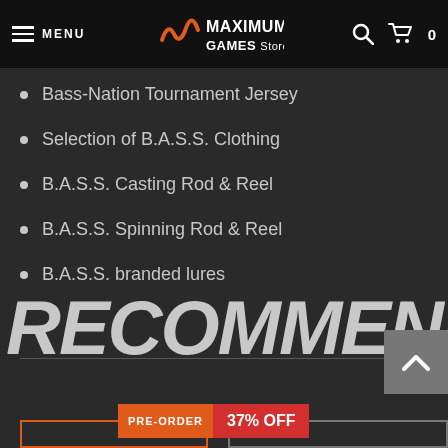MENU | MAXIMUM GAMES Store | 0
Bass-Nation Tournament Jersey
Selection of B.A.S.S. Clothing
B.A.S.S. Casting Rod & Reel
B.A.S.S. Spinning Rod & Reel
B.A.S.S. branded lures
RECOMMENDED
PRE-ORDER  37% OFF